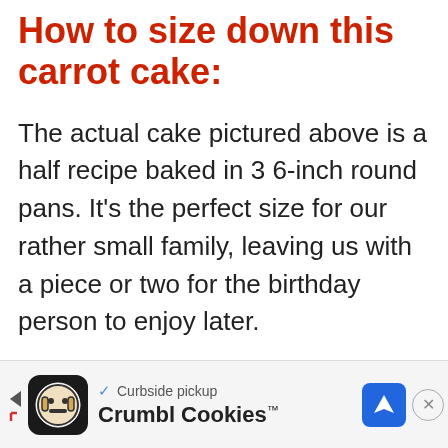How to size down this carrot cake:
The actual cake pictured above is a half recipe baked in 3 6-inch round pans. It's the perfect size for our rather small family, leaving us with a piece or two for the birthday person to enjoy later.
[Figure (screenshot): Advertisement banner for Crumbl Cookies with curbside pickup text, logo icon, brand name, navigation arrow icon, and close button]